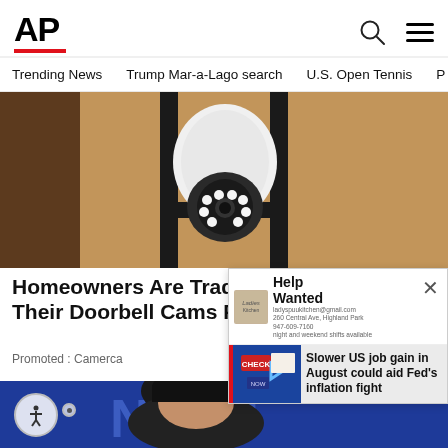AP
Trending News · Trump Mar-a-Lago search · U.S. Open Tennis
[Figure (photo): Close-up photo of a security camera mounted on a wall bracket against a textured stone/stucco wall]
Homeowners Are Trading In Their Doorbell Cams For This
Promoted : Camerca
[Figure (photo): Popup advertisement showing a help wanted sign with a restaurant/retail storefront background]
Slower US job gain in August could aid Fed's inflation fight
[Figure (photo): Photo of a woman with dark bangs in front of a blue background with letters visible]